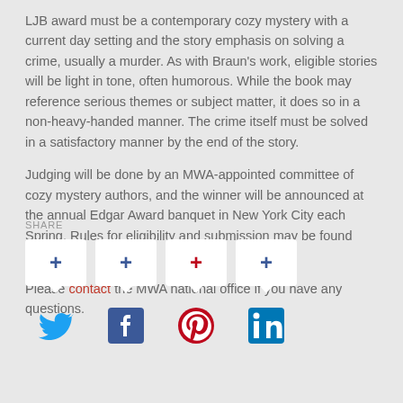LJB award must be a contemporary cozy mystery with a current day setting and the story emphasis on solving a crime, usually a murder. As with Braun's work, eligible stories will be light in tone, often humorous. While the book may reference serious themes or subject matter, it does so in a non-heavy-handed manner. The crime itself must be solved in a satisfactory manner by the end of the story.
Judging will be done by an MWA-appointed committee of cozy mystery authors, and the winner will be announced at the annual Edgar Award banquet in New York City each Spring. Rules for eligibility and submission may be found here.
Please contact the MWA national office if you have any questions.
SHARE
[Figure (infographic): Four social share buttons with plus icons (blue, blue, red, blue) and speech bubble shapes, above four social media icons: Twitter (blue bird), Facebook (dark blue f), Pinterest (red P), LinkedIn (blue in)]